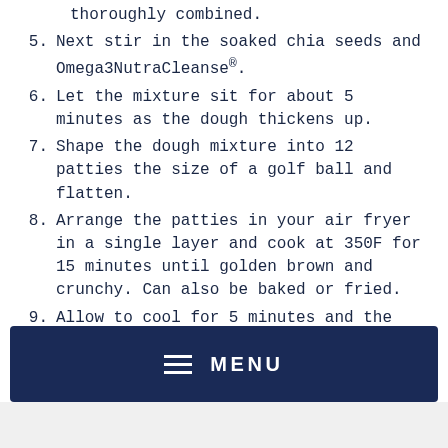thoroughly combined.
5. Next stir in the soaked chia seeds and Omega3NutraCleanse®.
6. Let the mixture sit for about 5 minutes as the dough thickens up.
7. Shape the dough mixture into 12 patties the size of a golf ball and flatten.
8. Arrange the patties in your air fryer in a single layer and cook at 350F for 15 minutes until golden brown and crunchy. Can also be baked or fried.
9. Allow to cool for 5 minutes and the enjoy warm.
10. Serve great as an appetizer with cauliflower hummus or with a giant green salad.
MENU